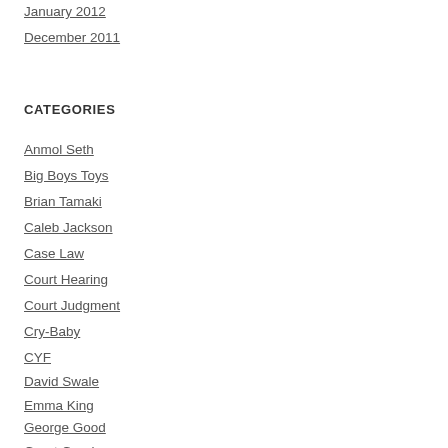January 2012
December 2011
CATEGORIES
Anmol Seth
Big Boys Toys
Brian Tamaki
Caleb Jackson
Case Law
Court Hearing
Court Judgment
Cry-Baby
CYF
David Swale
Emma King
George Good
Grant Good